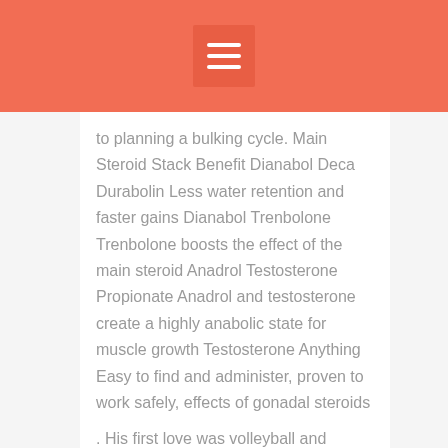Menu icon header
to planning a bulking cycle. Main Steroid Stack Benefit Dianabol Deca Durabolin Less water retention and faster gains Dianabol Trenbolone Trenbolone boosts the effect of the main steroid Anadrol Testosterone Propionate Anadrol and testosterone create a highly anabolic state for muscle growth Testosterone Anything Easy to find and administer, proven to work safely, effects of gonadal steroids
. His first love was volleyball and eventually, he moved on and started lifting weights, effects of anabolic steroids overdose